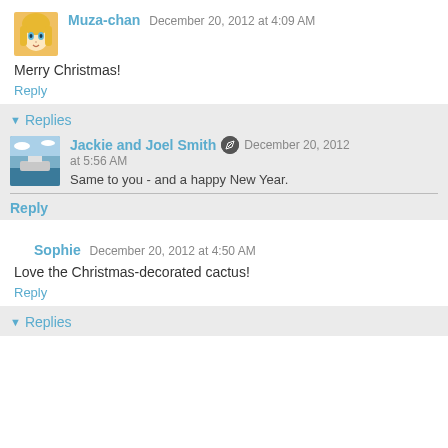Muza-chan  December 20, 2012 at 4:09 AM
Merry Christmas!
Reply
Replies
Jackie and Joel Smith  December 20, 2012 at 5:56 AM
Same to you - and a happy New Year.
Reply
Sophie  December 20, 2012 at 4:50 AM
Love the Christmas-decorated cactus!
Reply
Replies